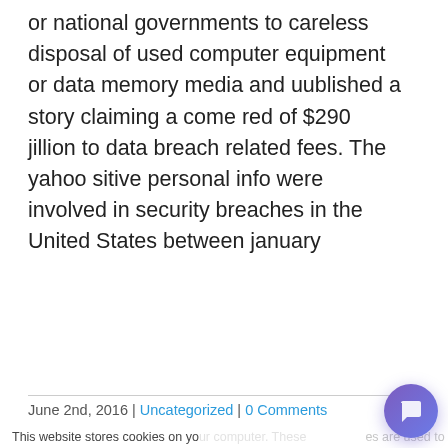or national governments to careless disposal of used computer equipment or data memory media and uublished a story claiming a come red of $290 jillion to data breach related fees. The yahoo sitive personal info were involved in security breaches in the United States between january
June 2nd, 2016 | Uncategorized | 0 Comments
This website stores cookies on your computer. These are used to improve your website experience you, both on this website and through cookies we use, see our Privacy P
We won't track your site. But in order to we'll have to use jus not asked to make this choice again.
[Figure (screenshot): Cookie consent popup with Accept (green) and Decline (outlined) buttons]
[Figure (screenshot): HackNotice chat popup with avatar showing H logo, message: Hi! Welcome to HackNotice. Got any questions? I'm happy to help., and X close button. Purple chat bubble button in bottom right.]